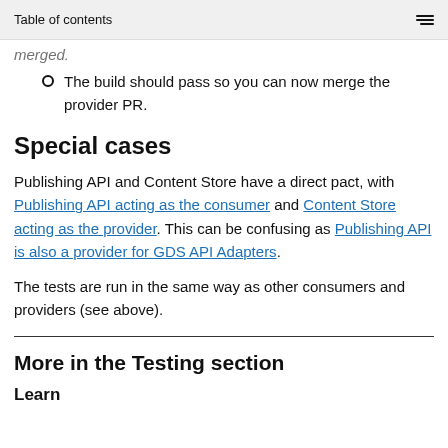Table of contents
merged.
The build should pass so you can now merge the provider PR.
Special cases
Publishing API and Content Store have a direct pact, with Publishing API acting as the consumer and Content Store acting as the provider. This can be confusing as Publishing API is also a provider for GDS API Adapters.
The tests are run in the same way as other consumers and providers (see above).
More in the Testing section
Learn